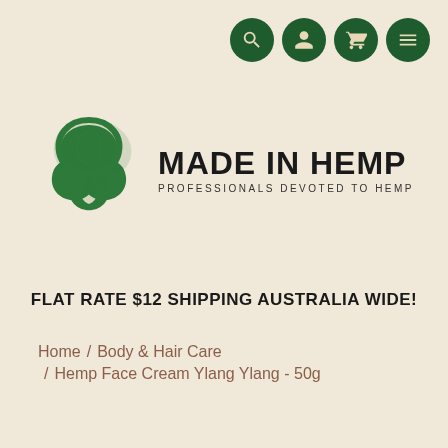[Figure (logo): Made in Hemp logo with Celtic knot triquetra symbol in green and bold text MADE IN HEMP with subtitle PROFESSIONALS DEVOTED TO HEMP]
FLAT RATE $12 SHIPPING AUSTRALIA WIDE!
Home / Body & Hair Care / Hemp Face Cream Ylang Ylang - 50g